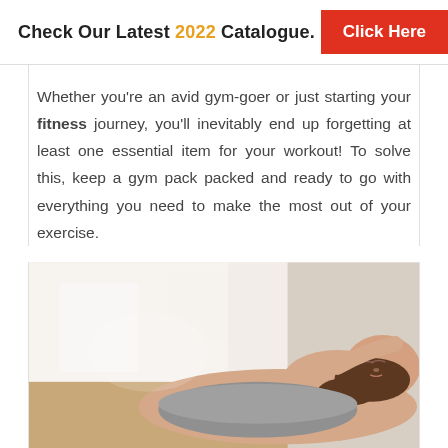Check Our Latest 2022 Catalogue. Click Here
Whether you’re an avid gym-goer or just starting your fitness journey, you’ll inevitably end up forgetting at least one essential item for your workout! To solve this, keep a gym pack packed and ready to go with everything you need to make the most out of your exercise.
[Figure (photo): Woman lying down resting with eyes closed, wearing a grey sports bra, in a gym or fitness setting]